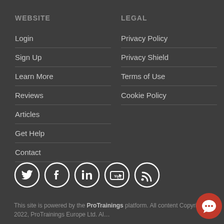WEBSITE
Login
Sign Up
Learn More
Reviews
Articles
Get Help
Contact
LEGAL
Privacy Policy
Privacy Shield
Terms of Use
Cookie Policy
[Figure (illustration): Social media icons in white circles: Twitter, Facebook, LinkedIn, YouTube, RSS]
This site is powered by the ProTrainings platform. All content Copyright © 2022, ProTrainings Europe Ltd. Al…